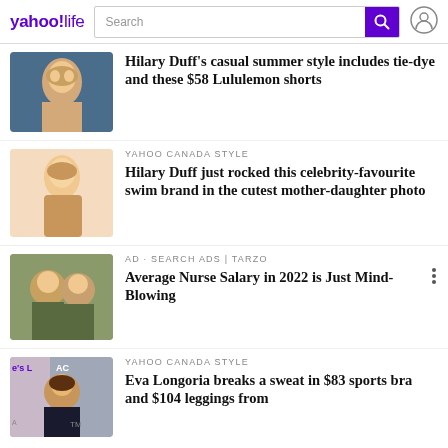yahoo!life — Search bar and user icon
Hilary Duff's casual summer style includes tie-dye and these $58 Lululemon shorts
YAHOO CANADA STYLE — Hilary Duff just rocked this celebrity-favourite swim brand in the cutest mother-daughter photo
AD · SEARCH ADS | TARZO — Average Nurse Salary in 2022 is Just Mind-Blowing
YAHOO CANADA STYLE — Eva Longoria breaks a sweat in $83 sports bra and $104 leggings from